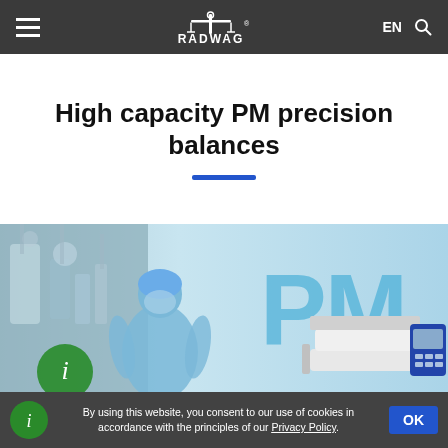RADWAG  EN
High capacity PM precision balances
[Figure (photo): Product page banner showing a laboratory worker in cleanroom attire and a PM precision balance scale with external display unit, overlaid with large 'PM' text on a light blue background.]
By using this website, you consent to our use of cookies in accordance with the principles of our Privacy Policy.